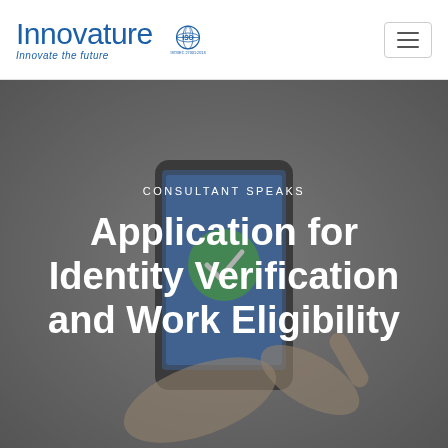[Figure (logo): Innovature logo with tagline 'Innovate the future' and ISO/IEC 27001:2013 certification badge]
[Figure (photo): Hands holding a smartphone displaying a mobile application with a green checkmark/verification icon, used as a hero background image]
CONSULTANT SPEAKS
Application for Identity Verification and Work Eligibility